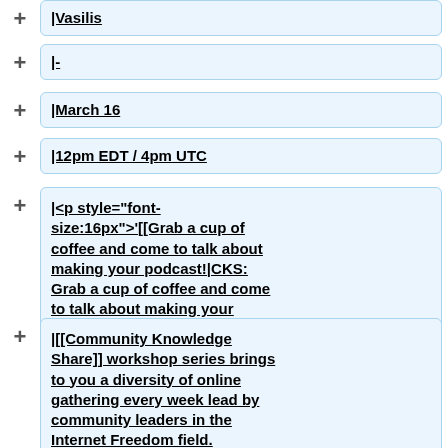|Vasilis
|-
|March 16
|12pm EDT / 4pm UTC
|<p style="font-size:16px">'"[[Grab a cup of coffee and come to talk about making your podcast!|CKS: Grab a cup of coffee and come to talk about making your podcast!]]'"</p>
|[[Community Knowledge Share]] workshop series brings to you a diversity of online gathering every week lead by community leaders in the Internet Freedom field.